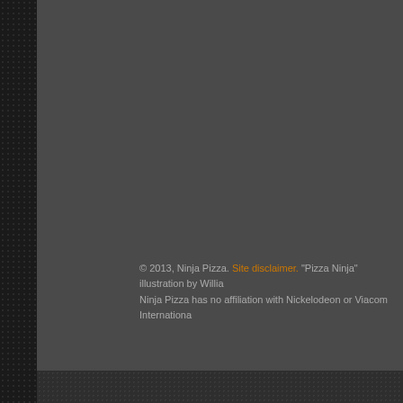© 2013, Ninja Pizza. Site disclaimer. "Pizza Ninja" illustration by Willia... Ninja Pizza has no affiliation with Nickelodeon or Viacom Internationa...